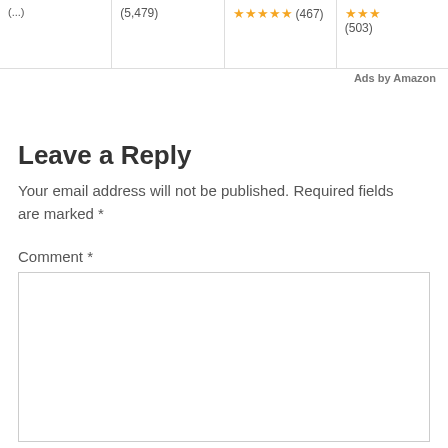[Figure (screenshot): Amazon product ad widgets showing star ratings: (5,479) reviews, 5-star rating (467) reviews, and partial star rating (503) reviews]
Ads by Amazon
Leave a Reply
Your email address will not be published. Required fields are marked *
Comment *